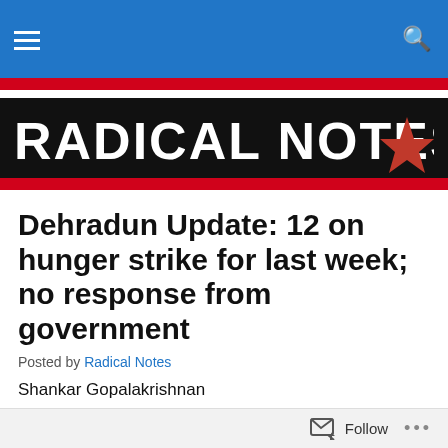RADICAL NOTES
Dehradun Update: 12 on hunger strike for last week; no response from government
Posted by Radical Notes
Shankar Gopalakrishnan
The struggle for justice of the Rockman and Satyam Auto workers continues. Since last Sunday, 12 more workers